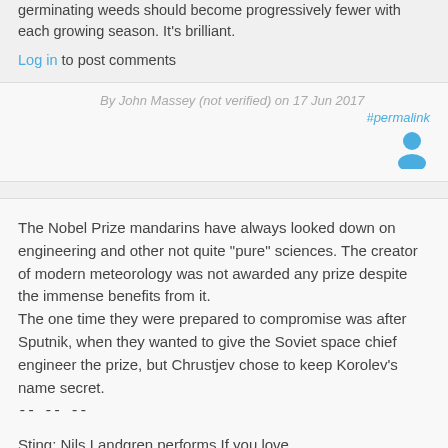germinating weeds should become progressively fewer with each growing season. It's brilliant.
Log in to post comments
By John Massey (not verified) on 17 Jun 2017
#permalink
[Figure (illustration): User avatar icon in blue/teal color]
The Nobel Prize mandarins have always looked down on engineering and other not quite "pure" sciences. The creator of modern meteorology was not awarded any prize despite the immense benefits from it.
The one time they were prepared to compromise was after Sputnik, when they wanted to give the Soviet space chief engineer the prize, but Chrustjev chose to keep Korolev's name secret.
-- -- --
Sting: Nils Landgren performs If you love